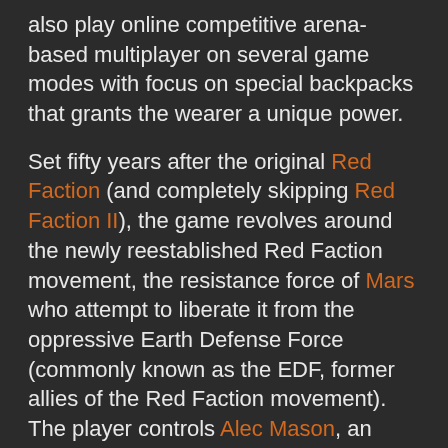also play online competitive arena-based multiplayer on several game modes with focus on special backpacks that grants the wearer a unique power.
Set fifty years after the original Red Faction (and completely skipping Red Faction II), the game revolves around the newly reestablished Red Faction movement, the resistance force of Mars who attempt to liberate it from the oppressive Earth Defense Force (commonly known as the EDF, former allies of the Red Faction movement). The player controls Alec Mason, an honest miner who witnesses his brother's death at the hands of the EDF and unwillingly becomes an EDF bounty, which prompts him to join the Red Faction movement. With the help of the mechanic Samanya and the rest of the Red Faction movement, Alec must overthrow the EDF's reign on Mars and prevent retaliatory destruction of the entire world.
Singleplayer